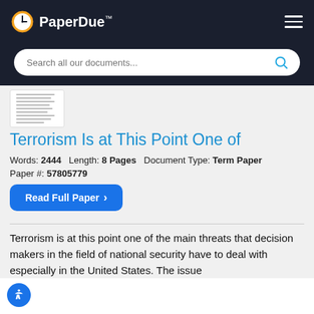PaperDue™
[Figure (screenshot): Search bar with placeholder text 'Search all our documents...' and a cyan search icon on the right, on dark background.]
[Figure (photo): Thumbnail preview of a document page.]
Terrorism Is at This Point One of
Words: 2444   Length: 8 Pages   Document Type: Term Paper
Paper #: 57805779
Read Full Paper ›
Terrorism is at this point one of the main threats that decision makers in the field of national security have to deal with especially in the United States. The issue